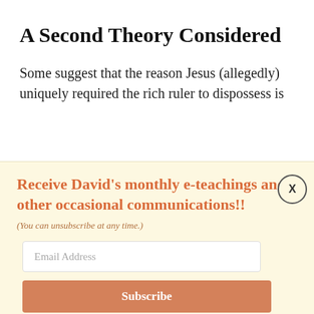A Second Theory Considered
Some suggest that the reason Jesus (allegedly) uniquely required the rich ruler to dispossess is
Receive David's monthly e-teachings and other occasional communications!!
(You can unsubscribe at any time.)
Email Address
Subscribe